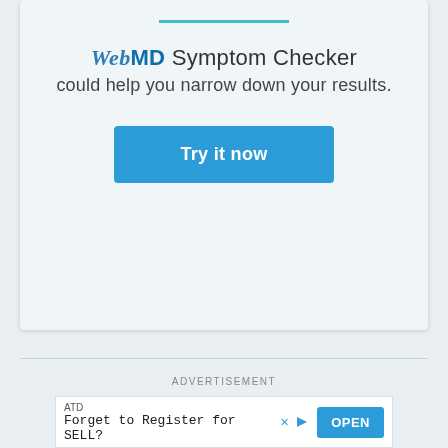[Figure (screenshot): WebMD Symptom Checker promotional card with teal underline, WebMD logo text, tagline 'could help you narrow down your results.' and a blue 'Try it now' button]
ADVERTISEMENT
[Figure (screenshot): Advertisement banner: ATD logo, text 'Forget to Register for SELL?' and an OPEN button in blue]